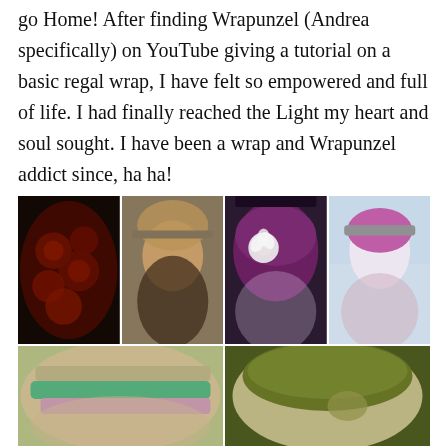go Home! After finding Wrapunzel (Andrea specifically) on YouTube giving a tutorial on a basic regal wrap, I have felt so empowered and full of life. I had finally reached the Light my heart and soul sought. I have been a wrap and Wrapunzel addict since, ha ha!
[Figure (photo): A collage of six photos showing a woman wearing various head wraps and tichels in different styles and colors: dark floral pattern, beaded headband style, purple with white flower, pink and gray layered, tan and green layered, and olive green turban style.]